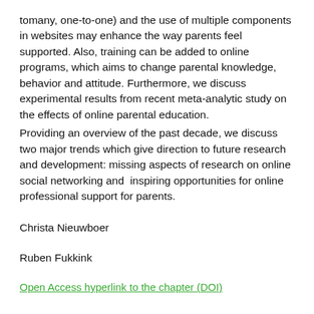tomany, one-to-one) and the use of multiple components in websites may enhance the way parents feel supported. Also, training can be added to online programs, which aims to change parental knowledge, behavior and attitude. Furthermore, we discuss experimental results from recent meta-analytic study on the effects of online parental education.
Providing an overview of the past decade, we discuss two major trends which give direction to future research and development: missing aspects of research on online social networking and  inspiring opportunities for online professional support for parents.
Christa Nieuwboer
Ruben Fukkink
Open Access hyperlink to the chapter (DOI)